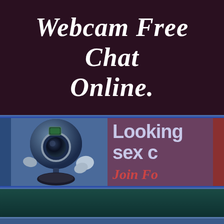Webcam Free Chat Online.
[Figure (illustration): A 3D cartoon webcam with arms and a round body, shown in blue tones. Background has text reading 'Looking sex' and 'Join Fo' (truncated) on a purple background. Right edge shows a partial red/brown image.]
Free Webc